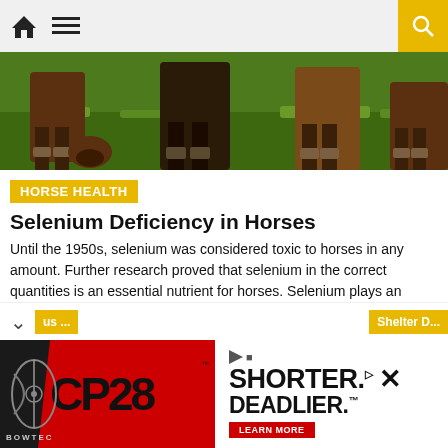Navigation bar with home icon, menu icon, and search button
[Figure (photo): Close-up photo of horse legs and hooves on grass, showing the lower portion of two horses grazing]
HORSE HEALTH
Selenium Deficiency in Horses
Until the 1950s, selenium was considered toxic to horses in any amount. Further research proved that selenium in the correct quantities is an essential nutrient for horses. Selenium plays an important role in the body, especially acting as an antioxidant. Its deficiency can cause among other things, muscle degeneration. The oxidation process converts fats, carbohydrates [...]
[Figure (photo): Advertisement banner for Bowtech CP28 crossbow with text SHORTER. DEADLIER. and LEARN MORE button]